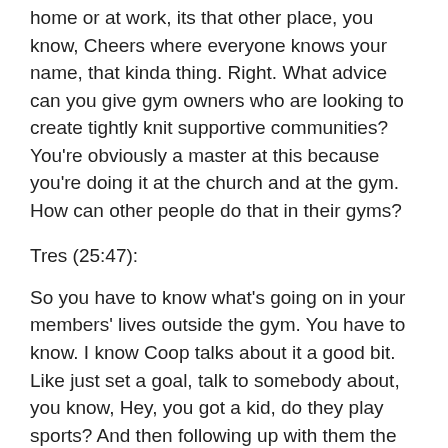home or at work, its that other place, you know, Cheers where everyone knows your name, that kinda thing. Right. What advice can you give gym owners who are looking to create tightly knit supportive communities? You're obviously a master at this because you're doing it at the church and at the gym. How can other people do that in their gyms?
Tres (25:47):
So you have to know what's going on in your members' lives outside the gym. You have to know. I know Coop talks about it a good bit. Like just set a goal, talk to somebody about, you know, Hey, you got a kid, do they play sports? And then following up with them the next week, Hey, did they, how did Johnny's game go or whatever, but that's just like one small instance, but you have to know. And I think it's important to know that. And